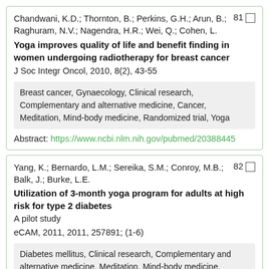Chandwani, K.D.; Thornton, B.; Perkins, G.H.; Arun, B.; Raghuram, N.V.; Nagendra, H.R.; Wei, Q.; Cohen, L.
Yoga improves quality of life and benefit finding in women undergoing radiotherapy for breast cancer
J Soc Integr Oncol, 2010, 8(2), 43-55
Breast cancer, Gynaecology, Clinical research, Complementary and alternative medicine, Cancer, Meditation, Mind-body medicine, Randomized trial, Yoga
Abstract: https://www.ncbi.nlm.nih.gov/pubmed/20388445
Yang, K.; Bernardo, L.M.; Sereika, S.M.; Conroy, M.B.; Balk, J.; Burke, L.E.
Utilization of 3-month yoga program for adults at high risk for type 2 diabetes
A pilot study
eCAM, 2011, 2011, 257891; (1-6)
Diabetes mellitus, Clinical research, Complementary and alternative medicine, Meditation, Mind-body medicine...